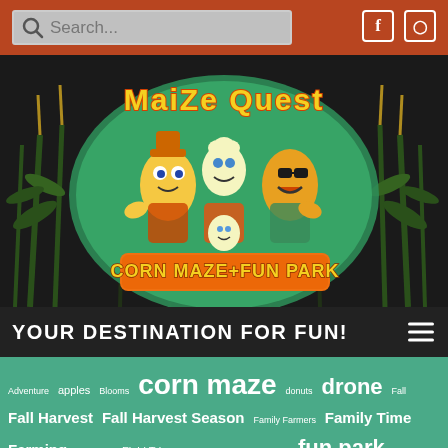Search... [Facebook] [Instagram]
[Figure (logo): Maize Quest Corn Maze + Fun Park logo with cartoon corn characters against a dark cornfield background]
YOUR DESTINATION FOR FUN!
Adventure apples Blooms corn maze donuts drone Fall Fall Harvest Fall Harvest Season Family Farmers Family Time Farming Field Trip Field Trips Freedom Fun is a Choice fun park FunPark Fun Park History Get Lost GoPro groups Harvest Harvesting Corn Harvest Season Harvest Time Hayride John Deere Joy Last Weekend maize quest fun park Maze MazeMaster Hugh Maze Tracker Photo Ops Pumpkin Patch pumpkins School Groups Secret Agent Summer Sunflowers Tractors Video Wagon Express youth groups